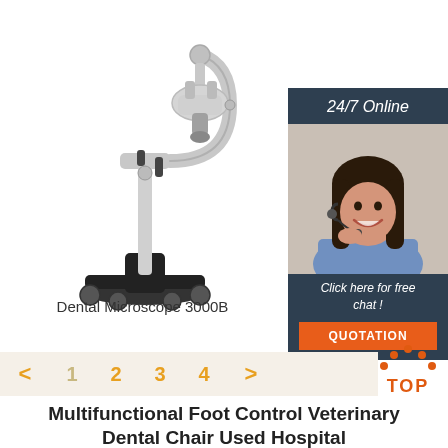[Figure (photo): Dental Microscope 3000B on a stand with wheeled base, white/silver color, articulated arm]
[Figure (photo): 24/7 Online customer support banner with woman wearing headset smiling, with 'Click here for free chat!' text and orange QUOTATION button]
Dental Microscope 3000B
< 1 2 3 4 >
[Figure (illustration): TOP arrow icon in orange/red]
Multifunctional Foot Control Veterinary Dental Chair Used Hospital